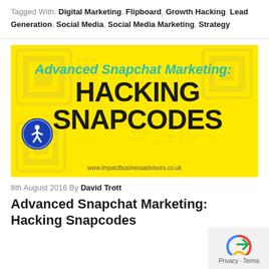Tagged With: Digital Marketing, Flipboard, Growth Hacking, Lead Generation, Social Media, Social Media Marketing, Strategy
[Figure (illustration): Yellow promotional banner image with QR code background pattern. Text reads 'Advanced Snapchat Marketing:' in teal italic, and 'HACKING SNAPCODES' in large black bold text. URL www.impactbusinessadvisors.co.uk at the bottom. Accessibility icon (blue circle with person figure) overlaid on left side.]
8th August 2016 By David Trott
Advanced Snapchat Marketing: Hacking Snapcodes